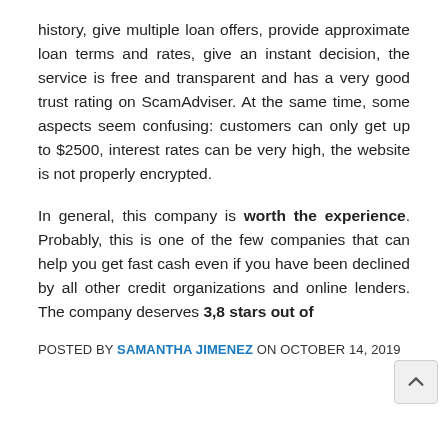history, give multiple loan offers, provide approximate loan terms and rates, give an instant decision, the service is free and transparent and has a very good trust rating on ScamAdviser. At the same time, some aspects seem confusing: customers can only get up to $2500, interest rates can be very high, the website is not properly encrypted.
In general, this company is worth the experience. Probably, this is one of the few companies that can help you get fast cash even if you have been declined by all other credit organizations and online lenders. The company deserves 3,8 stars out of 5.
POSTED BY SAMANTHA JIMENEZ ON OCTOBER 14, 2019